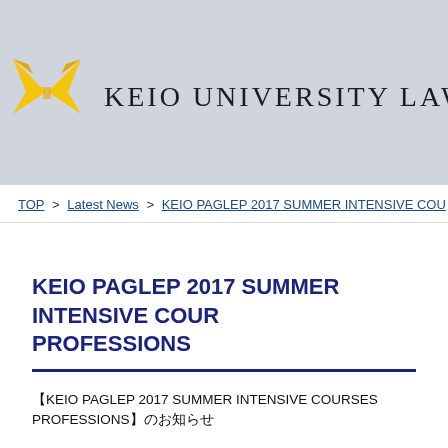KEIO UNIVERSITY LAW SCHOOL
TOP > Latest News > KEIO PAGLEP 2017 SUMMER INTENSIVE COU...
KEIO PAGLEP 2017 SUMMER INTENSIVE COUR... PROFESSIONS
【KEIO PAGLEP 2017 SUMMER INTENSIVE COURSES... PROFESSIONS】のお知らせ